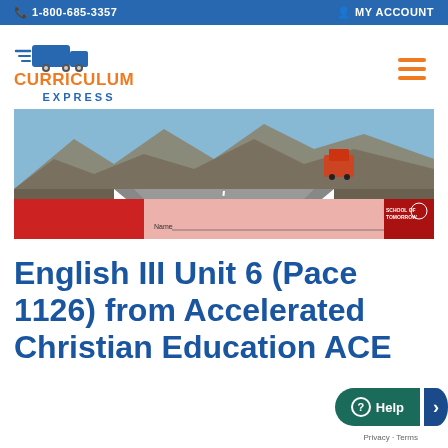1-800-685-3357   MY ACCOUNT
[Figure (logo): Curriculum Express logo with truck icon, orange CURRICULUM text and blue EXPRESS text]
[Figure (photo): Product image showing a road leading into mountains with a truck, and a School of Tomorrow (ACE) PACE workbook cover at the bottom showing fields for Name, Date Issued, Test Score]
English III Unit 6 (Pace 1126) from Accelerated Christian Education ACE